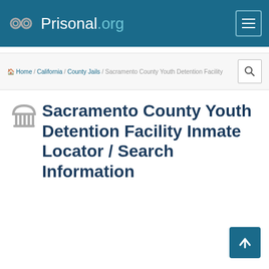Prisonal.org
Home / California / County Jails / Sacramento County Youth Detention Facility
Sacramento County Youth Detention Facility Inmate Locator / Search Information